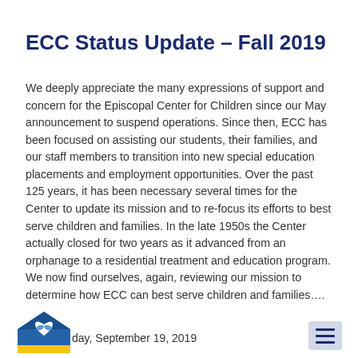ECC Status Update – Fall 2019
We deeply appreciate the many expressions of support and concern for the Episcopal Center for Children since our May announcement to suspend operations. Since then, ECC has been focused on assisting our students, their families, and our staff members to transition into new special education placements and employment opportunities. Over the past 125 years, it has been necessary several times for the Center to update its mission and to re-focus its efforts to best serve children and families. In the late 1950s the Center actually closed for two years as it advanced from an orphanage to a residential treatment and education program. We now find ourselves, again, reviewing our mission to determine how ECC can best serve children and families....
[Figure (logo): ECC logo: house shape with heart and hands motif in blue and yellow]
day, September 19, 2019